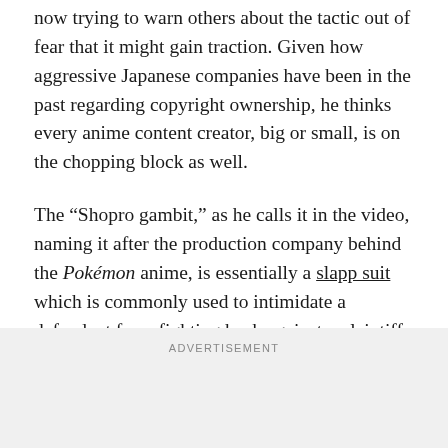now trying to warn others about the tactic out of fear that it might gain traction. Given how aggressive Japanese companies have been in the past regarding copyright ownership, he thinks every anime content creator, big or small, is on the chopping block as well.
The “Shopro gambit,” as he calls it in the video, naming it after the production company behind the Pokémon anime, is essentially a slapp suit which is commonly used to intimidate a defendant from fighting back against a plaintiff. While the thing could go to court, the strategy assumes that the defendant will consider it too much of a hassle to pursue.
ADVERTISEMENT